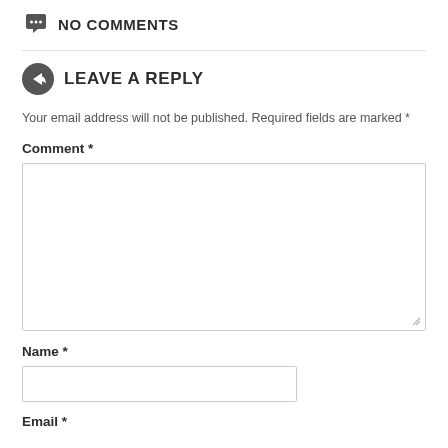NO COMMENTS
LEAVE A REPLY
Your email address will not be published. Required fields are marked *
Comment *
Name *
Email *